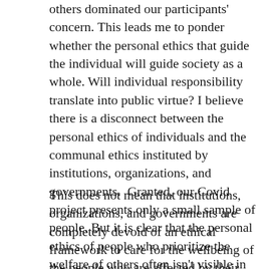others dominated our participants' concern. This leads me to ponder whether the personal ethics that guide the individual will guide society as a whole. Will individual responsibility translate into public virtue? I believe there is a disconnect between the personal ethics of individuals and the communal ethics instituted by institutions, organizations, and governments.  Granted, our Covid project presents only a small sample of people. But it is clear that the personal ethics of people who prioritize the welfare of others often isn't visible in the goals of the larger bodies these individuals comprise.
This does not mean that institutions, organizations, and governments are completely devoid of an ethical framework to care for the wellbeing of the people who are affected by their decisions.  I do think, however, that fully considering the humanity of the individuals that